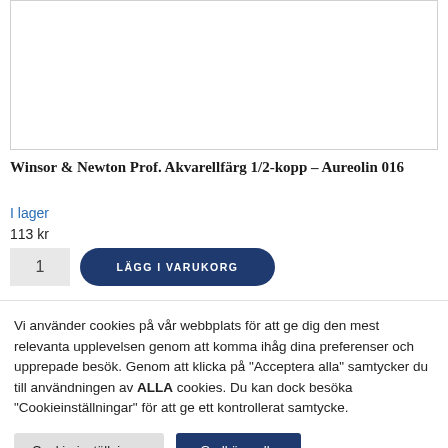[Figure (photo): Product image area — white rectangle with border, product image not visible]
Winsor & Newton Prof. Akvarellfärg 1/2-kopp – Aureolin 016
I lager
113 kr
1  LÄGG I VARUKORG
Vi använder cookies på vår webbplats för att ge dig den mest relevanta upplevelsen genom att komma ihåg dina preferenser och upprepade besök. Genom att klicka på "Acceptera alla" samtycker du till användningen av ALLA cookies. Du kan dock besöka "Cookieinställningar" för att ge ett kontrollerat samtycke.
Cookie-inställningar  Godkänn alla